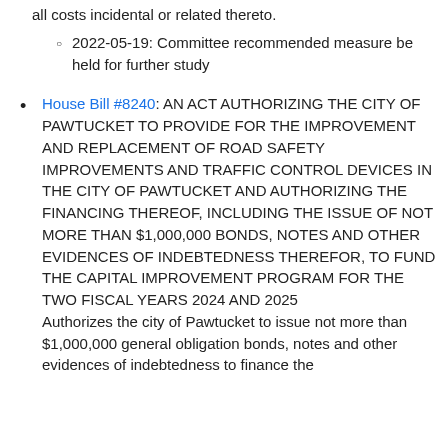all costs incidental or related thereto.
2022-05-19: Committee recommended measure be held for further study
House Bill #8240: AN ACT AUTHORIZING THE CITY OF PAWTUCKET TO PROVIDE FOR THE IMPROVEMENT AND REPLACEMENT OF ROAD SAFETY IMPROVEMENTS AND TRAFFIC CONTROL DEVICES IN THE CITY OF PAWTUCKET AND AUTHORIZING THE FINANCING THEREOF, INCLUDING THE ISSUE OF NOT MORE THAN $1,000,000 BONDS, NOTES AND OTHER EVIDENCES OF INDEBTEDNESS THEREFOR, TO FUND THE CAPITAL IMPROVEMENT PROGRAM FOR THE TWO FISCAL YEARS 2024 AND 2025
Authorizes the city of Pawtucket to issue not more than $1,000,000 general obligation bonds, notes and other evidences of indebtedness to finance the